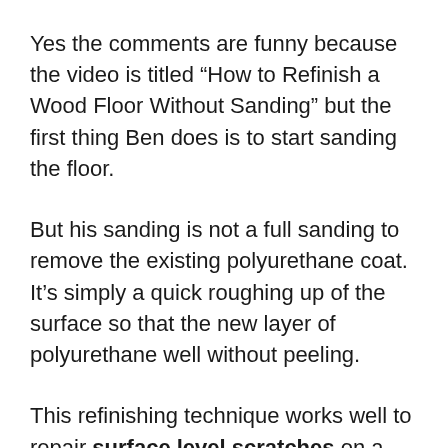Yes the comments are funny because the video is titled “How to Refinish a Wood Floor Without Sanding” but the first thing Ben does is to start sanding the floor.
But his sanding is not a full sanding to remove the existing polyurethane coat. It’s simply a quick roughing up of the surface so that the new layer of polyurethane well without peeling.
This refinishing technique works well to repair surface level scratches on a floor without sanding it first.